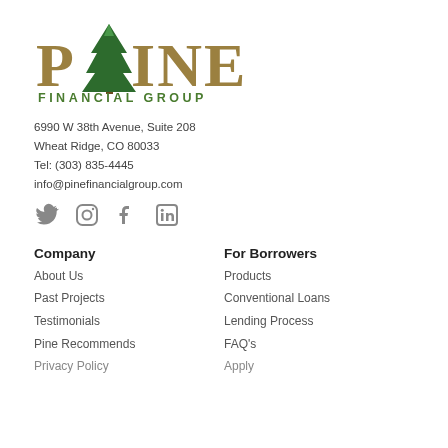[Figure (logo): Pine Financial Group logo with stylized pine tree and gold/green text reading PINE FINANCIAL GROUP]
6990 W 38th Avenue, Suite 208
Wheat Ridge, CO 80033
Tel: (303) 835-4445
info@pinefinancialgroup.com
[Figure (infographic): Social media icons: Twitter, Instagram, Facebook, LinkedIn]
Company
For Borrowers
About Us
Products
Past Projects
Conventional Loans
Testimonials
Lending Process
Pine Recommends
FAQ's
Privacy Policy (partial)
Apply (partial)